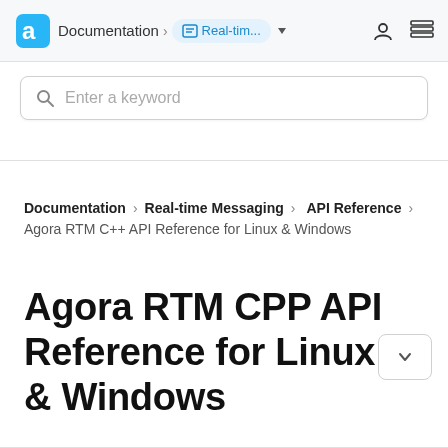Documentation > Real-tim... (Agora logo, user icon, menu icon)
Enter a keyword
Documentation > Real-time Messaging > API Reference
Agora RTM C++ API Reference for Linux & Windows
Agora RTM CPP API Reference for Linux & Windows